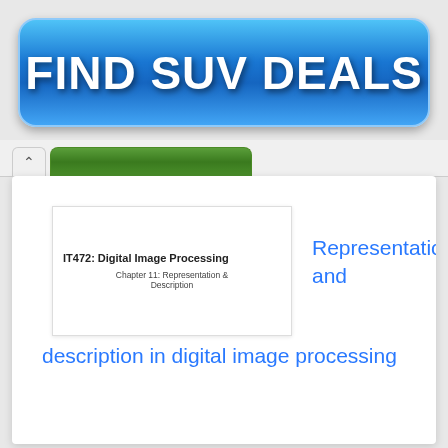[Figure (other): Blue gradient advertisement banner with bold white text reading FIND SUV DEALS]
[Figure (screenshot): Browser tab bar showing an arrow/back tab and a green active tab]
[Figure (screenshot): White content card showing a slide preview with IT472: Digital Image Processing, Chapter 11: Representation & Description, and blue hyperlink text reading 'Representation and description in digital image processing']
IT472: Digital Image Processing
Chapter 11: Representation & Description
Representation and description in digital image processing
[Figure (screenshot): Partial bottom thumbnails showing a photo, dark blue block, cyan block with 'Every' text, and yellow-green block with 'Every' text]